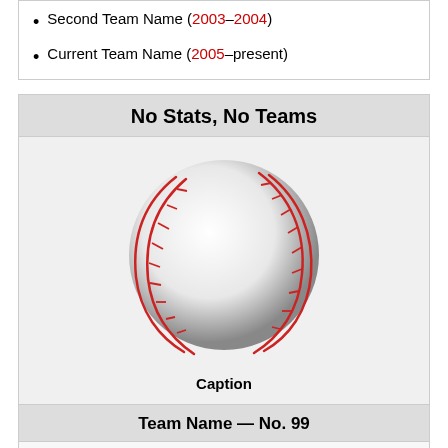Second Team Name (2003–2004)
Current Team Name (2005–present)
No Stats, No Teams
[Figure (photo): Baseball illustration placeholder]
Caption
Team Name — No. 99
Position
Відбиває: Bats   Кидає: Throws
Дебют у ГБЛ